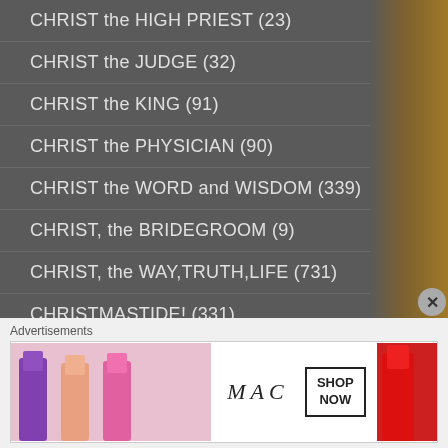CHRIST the HIGH PRIEST (23)
CHRIST the JUDGE (32)
CHRIST the KING (91)
CHRIST the PHYSICIAN (90)
CHRIST the WORD and WISDOM (339)
CHRIST, the BRIDEGROOM (9)
CHRIST, the WAY,TRUTH,LIFE (731)
CHRISTMASTIDE! (331)
CONFESSION (23)
CONFESSION (2)
CONFESSION/PENANCE (128)
Advertisements